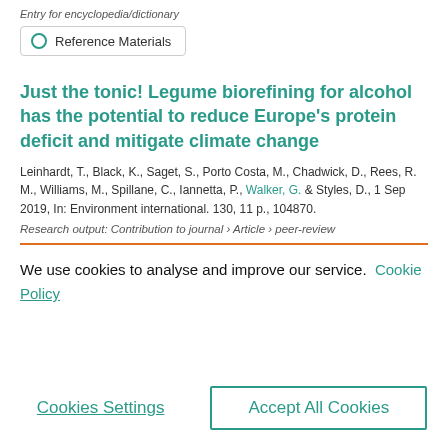Entry for encyclopedia/dictionary
Reference Materials
Just the tonic! Legume biorefining for alcohol has the potential to reduce Europe's protein deficit and mitigate climate change
Leinhardt, T., Black, K., Saget, S., Porto Costa, M., Chadwick, D., Rees, R. M., Williams, M., Spillane, C., Iannetta, P., Walker, G. & Styles, D., 1 Sep 2019, In: Environment international. 130, 11 p., 104870.
Research output: Contribution to journal › Article › peer-review
We use cookies to analyse and improve our service. Cookie Policy
Cookies Settings
Accept All Cookies